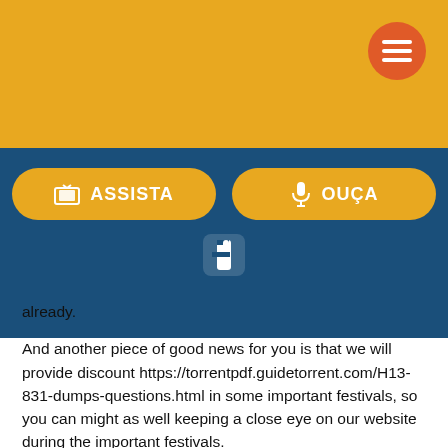[Figure (screenshot): Gold/yellow header bar with orange hamburger menu button in top right corner]
[Figure (screenshot): Dark blue navigation bar with two yellow pill-shaped buttons labeled ASSISTA (with TV icon) and OUÇA (with microphone icon), and a Facebook icon below them]
already.
And another piece of good news for you is that we will provide discount https://torrentpdf.guidetorrent.com/H13-831-dumps-questions.html in some important festivals, so you can might as well keeping a close eye on our website during the important festivals.
If you're still studying hard to pass the Huawei H13-831 exam, Ynterativafm help you to achieve your dream, Once the clients click on the links they can use our H13-831 study materials immediately.